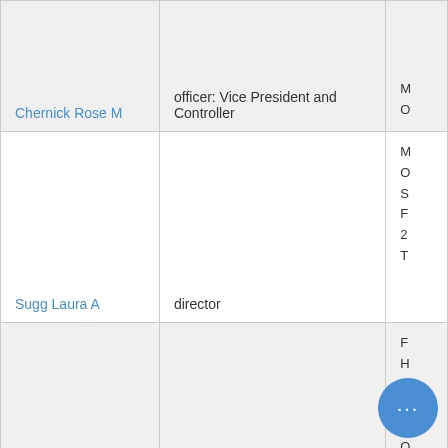| Name | Title | Details |
| --- | --- | --- |
| Chernick Rose M | officer: Vice President and Controller | M
O |
| Sugg Laura A | director | M
O
S
F
2
T |
| Ostrowsky Barry H | director | F
H
S
F
O
O |
| Daly David Matthew | officer: President & COO - PSE&G | M |